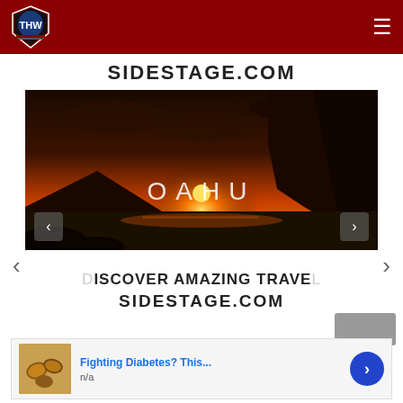THW logo and navigation header
SIDESTAGE.COM
[Figure (photo): Sunset coastal landscape photo showing orange sky, ocean, rocky cliffs, with text 'OAHU' overlaid in center]
DISCOVER AMAZING TRAVEL SIDESTAGE.COM
[Figure (photo): Advertisement thumbnail showing cashews or nuts, with text 'Fighting Diabetes? This...' and 'n/a', with a blue arrow button]